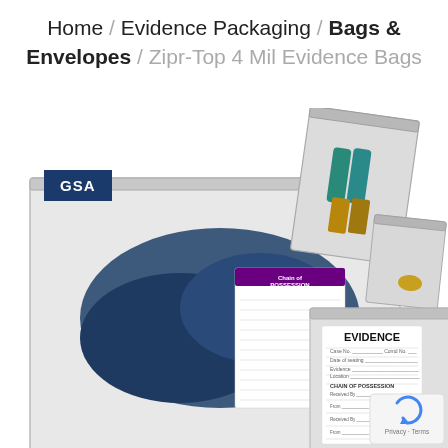Home / Evidence Packaging / Bags & Envelopes / Zipr-Top 4 Mil Evidence Bags
[Figure (photo): Product photo showing multiple clear zip-top evidence bags of different sizes. A large bag contains a dark blue item of clothing with a 'Chain of Possession' label. A medium bag contains shotgun shells and bullet casings. A smaller bag contains a small brass item. A medium bag has an 'EVIDENCE' label with chain of possession fields. A GSA badge is shown in the upper left. A reCAPTCHA Privacy-Terms badge appears in the lower right.]